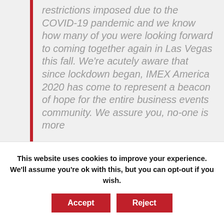restrictions imposed due to the COVID-19 pandemic and we know how many of you were looking forward to coming together again in Las Vegas this fall. We're acutely aware that since lockdown began, IMEX America 2020 has come to represent a beacon of hope for the entire business events community. We assure you, no-one is more
This website uses cookies to improve your experience. We'll assume you're ok with this, but you can opt-out if you wish.